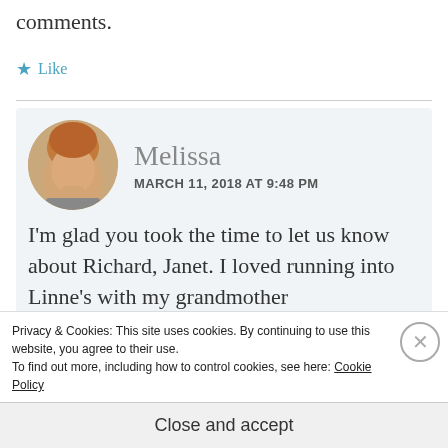comments.
★ Like
Melissa
MARCH 11, 2018 AT 9:48 PM
[Figure (photo): Circular avatar photo of Melissa, a woman with short reddish-blonde hair smiling.]
I'm glad you took the time to let us know about Richard, Janet. I loved running into Linne's with my grandmother
Privacy & Cookies: This site uses cookies. By continuing to use this website, you agree to their use.
To find out more, including how to control cookies, see here: Cookie Policy
Close and accept